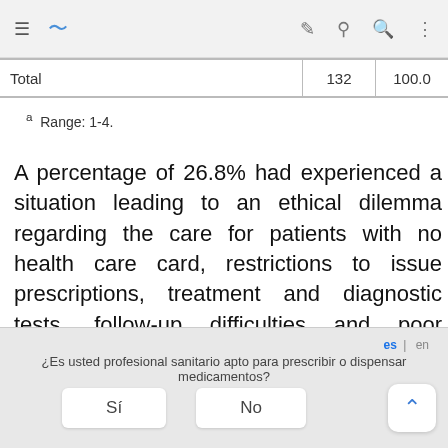|  | N | % |
| --- | --- | --- |
| Total | 132 | 100.0 |
a  Range: 1-4.
A percentage of 26.8% had experienced a situation leading to an ethical dilemma regarding the care for patients with no health care card, restrictions to issue prescriptions, treatment and diagnostic tests, follow-up difficulties and poor treatment adherence from patients for not being able to afford medicines, early patient discharge, emotional impact for attending